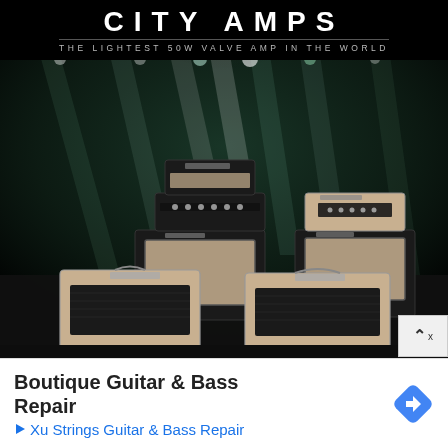CITY AMPS
THE LIGHTEST 50W VALVE AMP IN THE WORLD
[Figure (photo): Stage scene with dramatic spotlights shining down on a collection of Blackstar guitar amplifiers and cabinets in black and cream/tan tolex. Multiple amp heads and combo amps are arranged on a stage, with green and white stage lighting beams visible from above. The Blackstar logo is visible on the amps.]
Boutique Guitar & Bass Repair
Xu Strings Guitar & Bass Repair